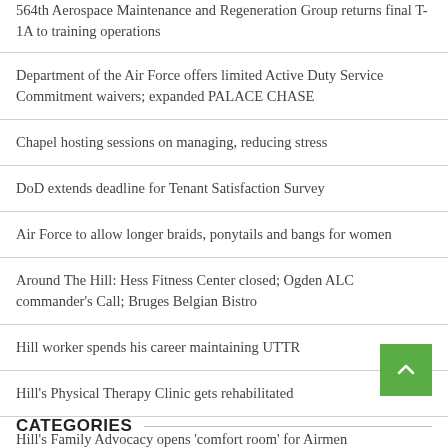564th Aerospace Maintenance and Regeneration Group returns final T-1A to training operations
Department of the Air Force offers limited Active Duty Service Commitment waivers; expanded PALACE CHASE
Chapel hosting sessions on managing, reducing stress
DoD extends deadline for Tenant Satisfaction Survey
Air Force to allow longer braids, ponytails and bangs for women
Around The Hill: Hess Fitness Center closed; Ogden ALC commander's Call; Bruges Belgian Bistro
Hill worker spends his career maintaining UTTR
Hill's Physical Therapy Clinic gets rehabilitated
Hill's Family Advocacy opens 'comfort room' for Airmen
CATEGORIES